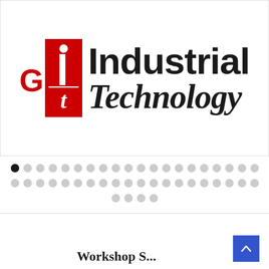[Figure (logo): GIT Industrial Technology logo — red 'G' letter, red rectangle with stylized 'i' and italic 't', bold sans-serif 'Industrial' and italic serif 'Technology' text]
[Figure (infographic): Dot pagination/carousel indicators — one filled black dot followed by rows of light grey dots]
[Figure (other): Blue scroll-to-top button with upward arrow chevron in bottom right corner]
Workshop S...